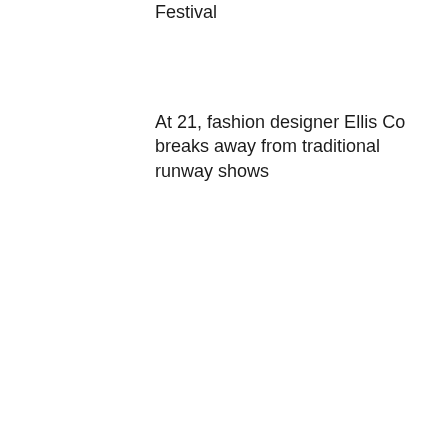Festival
At 21, fashion designer Ellis Co breaks away from traditional runway shows